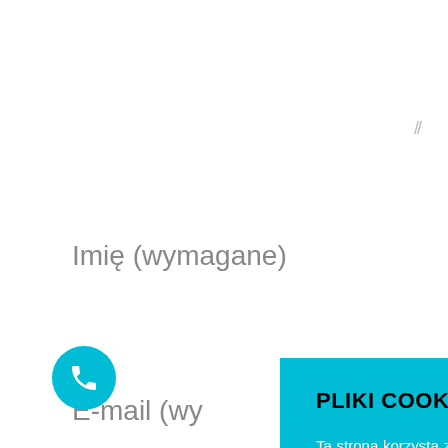Imię (wymagane)
E-mail (wy…
Strona int…
PLIKI COOKIES - RODO
Ta strona korzysta z plików cookies, aby zapewnić najlepszą jakość korzystania z naszej witryny. Klikając OK. Akceptuje, wyrażasz zgodę na użycie wszystkich plików cookie. Możesz zmienić Swoje preferencje klikając Ustawienia.
__ Polityka prywatności - RODO
Ustawienia
OK. Akceptuje